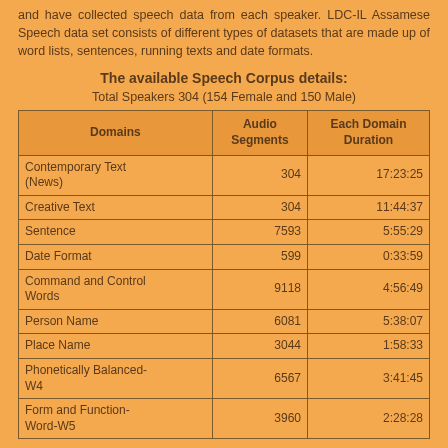and have collected speech data from each speaker. LDC-IL Assamese Speech data set consists of different types of datasets that are made up of word lists, sentences, running texts and date formats.
The available Speech Corpus details:
Total Speakers 304 (154 Female and 150 Male)
| Domains | Audio Segments | Each Domain Duration |
| --- | --- | --- |
| Contemporary Text (News) | 304 | 17:23:25 |
| Creative Text | 304 | 11:44:37 |
| Sentence | 7593 | 5:55:29 |
| Date Format | 599 | 0:33:59 |
| Command and Control Words | 9118 | 4:56:49 |
| Person Name | 6081 | 5:38:07 |
| Place Name | 3044 | 1:58:33 |
| Phonetically Balanced-W4 | 6567 | 3:41:45 |
| Form and Function-Word-W5 | 3960 | 2:28:28 |